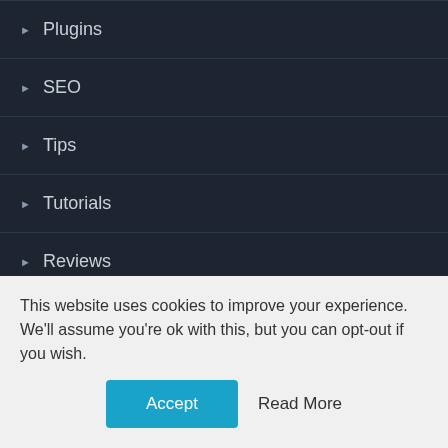Plugins
SEO
Tips
Tutorials
Reviews
Security
Popular Post
10 Best Online Community Plugins for WordPress in
This website uses cookies to improve your experience. We'll assume you're ok with this, but you can opt-out if you wish.
Accept
Read More